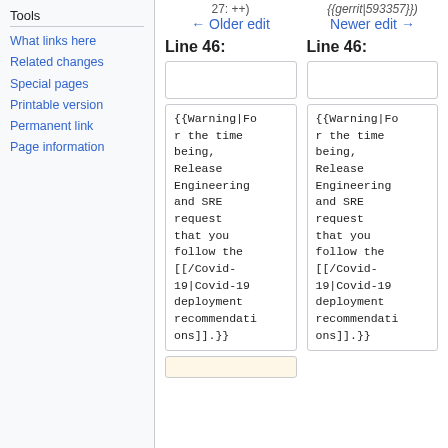Tools
What links here
Related changes
Special pages
Printable version
Permanent link
Page information
27: ++) {{gerrit|593357}})
← Older edit    Newer edit →
Line 46:    Line 46:
{{Warning|For the time being, Release Engineering and SRE request that you follow the [[/Covid-19|Covid-19 deployment recommendations]].}}
{{Warning|For the time being, Release Engineering and SRE request that you follow the [[/Covid-19|Covid-19 deployment recommendations]].}}